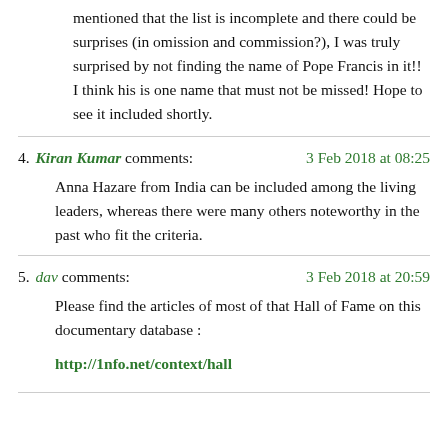mentioned that the list is incomplete and there could be surprises (in omission and commission?), I was truly surprised by not finding the name of Pope Francis in it!! I think his is one name that must not be missed! Hope to see it included shortly.
4. Kiran Kumar comments: 3 Feb 2018 at 08:25
Anna Hazare from India can be included among the living leaders, whereas there were many others noteworthy in the past who fit the criteria.
5. dav comments: 3 Feb 2018 at 20:59
Please find the articles of most of that Hall of Fame on this documentary database :
http://1nfo.net/context/hall